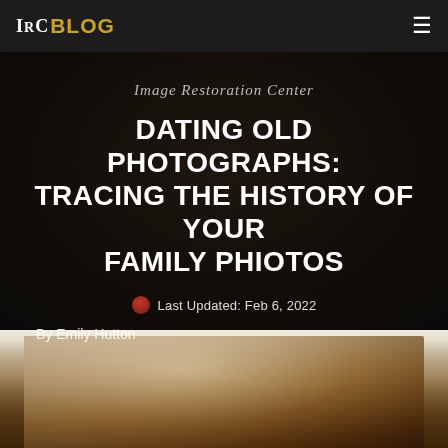IRC BLOG
Image Restoration Center
DATING OLD PHOTOGRAPHS: TRACING THE HISTORY OF YOUR FAMILY PHIOTOS
Last Updated: Feb 6, 2022
By Emily Hutton
[Figure (photo): Dark blurred photo of old family photographs in a box, sepia toned]